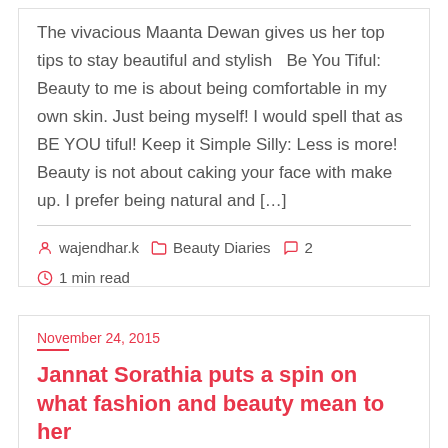The vivacious Maanta Dewan gives us her top tips to stay beautiful and stylish   Be You Tiful: Beauty to me is about being comfortable in my own skin. Just being myself! I would spell that as BE YOU tiful! Keep it Simple Silly: Less is more! Beauty is not about caking your face with make up. I prefer being natural and […]
wajendhar.k   Beauty Diaries   2   1 min read
November 24, 2015
Jannat Sorathia puts a spin on what fashion and beauty mean to her
Jannat Sorathia tells us some top secrets to a fashionable closet and a beautiful face   Must Haves: Fashion is all